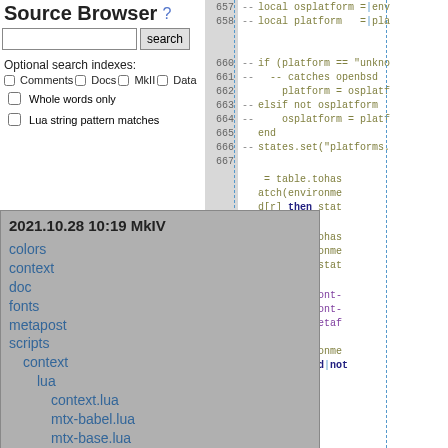Source Browser ?
search
Optional search indexes:
□ Comments □ Docs □ MkII □ Data
□ Whole words only
□ Lua string pattern matches
[Figure (screenshot): Source browser file tree showing: 2021.10.28 10:19 MkIV, colors, context, doc, fonts, metapost, scripts, context, lua, context.lua, mtx-babel.lua, mtx-base.lua, mtx-bibtex.lua, mtx-cache.lua, mtx-chars.lua]
[Figure (screenshot): Lua source code panel showing lines 657-667 with platform detection code and table.tohas/atch calls]